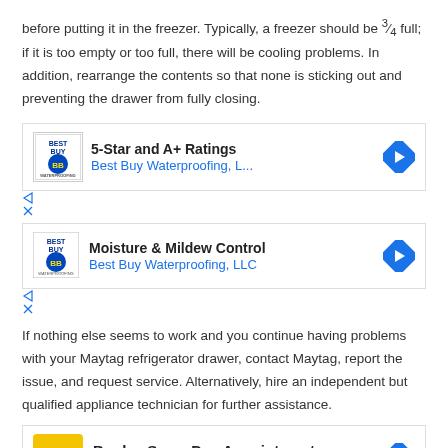before putting it in the freezer. Typically, a freezer should be ¾ full; if it is too empty or too full, there will be cooling problems. In addition, rearrange the contents so that none is sticking out and preventing the drawer from fully closing.
[Figure (other): Advertisement: 5-Star and A+ Ratings - Best Buy Waterproofing, L...]
[Figure (other): Advertisement: Moisture & Mildew Control - Best Buy Waterproofing, LLC]
If nothing else seems to work and you continue having problems with your Maytag refrigerator drawer, contact Maytag, report the issue, and request service. Alternatively, hire an independent but qualified appliance technician for further assistance.
[Figure (other): Advertisement: Book a Same Day Appointment - Hair Cuttery]